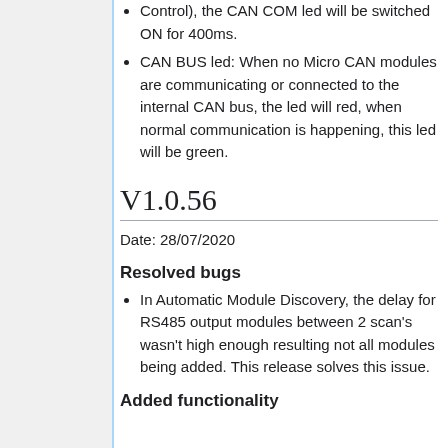Control), the CAN COM led will be switched ON for 400ms.
CAN BUS led: When no Micro CAN modules are communicating or connected to the internal CAN bus, the led will red, when normal communication is happening, this led will be green.
V1.0.56
Date: 28/07/2020
Resolved bugs
In Automatic Module Discovery, the delay for RS485 output modules between 2 scan's wasn't high enough resulting not all modules being added. This release solves this issue.
Added functionality